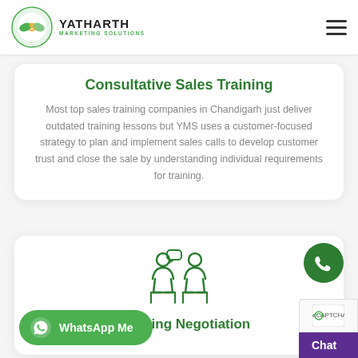[Figure (logo): Yatharth Marketing Solutions logo with circular icon and text]
Consultative Sales Training
Most top sales training companies in Chandigarh just deliver outdated training lessons but YMS uses a customer-focused strategy to plan and implement sales calls to develop customer trust and close the sale by understanding individual requirements for training.
[Figure (illustration): Two people sitting facing each other in conversation, representing negotiation]
Mastering Negotiation